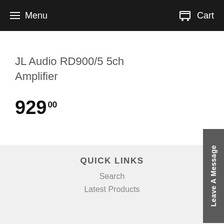Menu   Cart
JL Audio RD900/5 5ch Amplifier
929°00
QUICK LINKS
Search
Latest Products